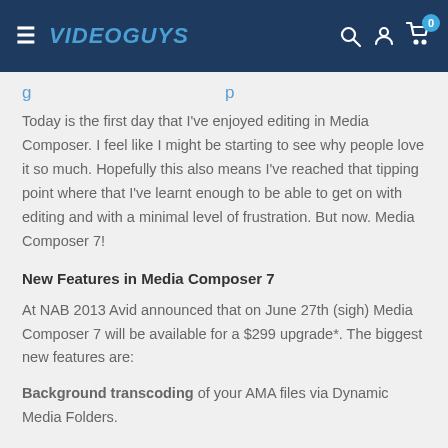≡ VIDEOGUYS  🔍 👤 🛒 0
Today is the first day that I've enjoyed editing in Media Composer. I feel like I might be starting to see why people love it so much. Hopefully this also means I've reached that tipping point where that I've learnt enough to be able to get on with editing and with a minimal level of frustration. But now. Media Composer 7!
New Features in Media Composer 7
At NAB 2013 Avid announced that on June 27th (sigh) Media Composer 7 will be available for a $299 upgrade*. The biggest new features are:
Background transcoding of your AMA files via Dynamic Media Folders.